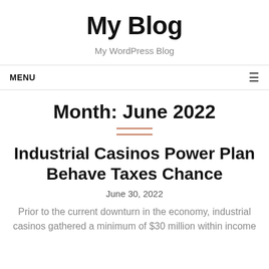My Blog
My WordPress Blog
MENU
Month: June 2022
Industrial Casinos Power Plan Behave Taxes Chance
June 30, 2022
Prior to the current downturn in the economy, industrial casinos gathered a minimum of $30 million within income